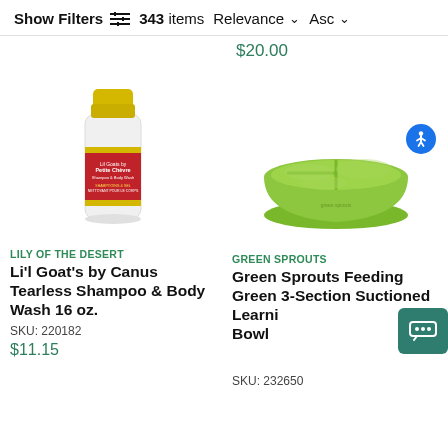Show Filters  343 items  Relevance ∨  Asc ∨
$20.00
[Figure (photo): White bottle of Li'l Goat's by Canus Tearless Shampoo & Body Wash with yellow cap and red label]
LILY OF THE DESERT
Li'l Goat's by Canus Tearless Shampoo & Body Wash 16 oz.
SKU: 220182
$11.15
[Figure (photo): Green silicone 3-section suctioned learning bowl by Green Sprouts]
GREEN SPROUTS
Green Sprouts Feeding Green 3-Section Suctioned Learning Bowl
SKU: 232650